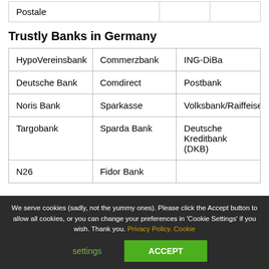| Postale |  |  |
Trustly Banks in Germany
| HypoVereinsbank | Commerzbank | ING-DiBa |
| Deutsche Bank | Comdirect | Postbank |
| Noris Bank | Sparkasse | Volksbank/Raiffeisen |
| Targobank | Sparda Bank | Deutsche Kreditbank (DKB) |
| N26 | Fidor Bank |  |
We serve cookies (sadly, not the yummy ones). Please click the Accept button to allow all cookies, or you can change your preferences in 'Cookie Settings' if you wish. Thank you. Privacy Policy. Cookie settings  ACCEPT